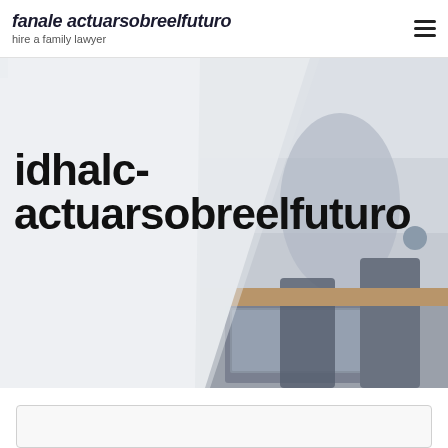fanale actuarsobreelfuturo — hire a family lawyer
[Figure (photo): Website screenshot showing a hero section with a blurred office/meeting room photo on the right and a diagonal white overlay on the left, with the text 'idhalc-actuarsobreelfuturo' in bold black on the left side]
idhalc-actuarsobreelfuturo